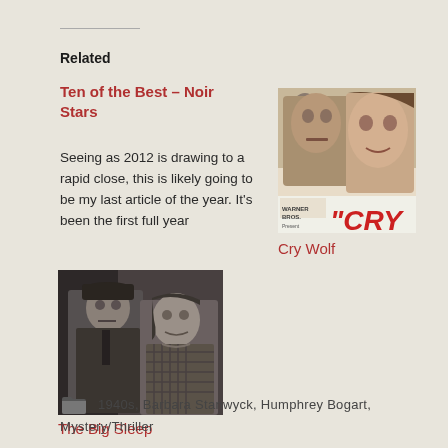Related
Ten of the Best – Noir Stars
Seeing as 2012 is drawing to a rapid close, this is likely going to be my last article of the year. It's been the first full year
[Figure (photo): Movie poster for 'Cry Wolf' - Warner Bros. presentation showing two faces (man and woman) in dramatic lighting with red CRY text visible]
Cry Wolf
[Figure (photo): Black and white still from 'The Big Sleep' showing a man and woman in conversation]
The Big Sleep
1940s, Barbara Stanwyck, Humphrey Bogart, Mystery/Thriller